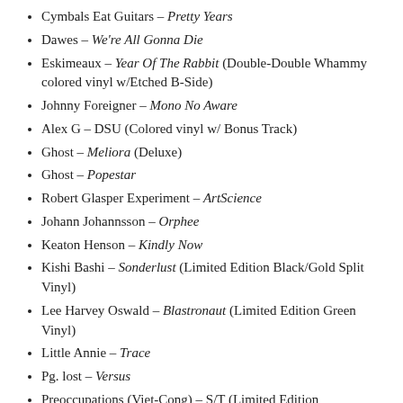Cymbals Eat Guitars – Pretty Years
Dawes – We're All Gonna Die
Eskimeaux – Year Of The Rabbit (Double-Double Whammy colored vinyl w/Etched B-Side)
Johnny Foreigner – Mono No Aware
Alex G – DSU (Colored vinyl w/ Bonus Track)
Ghost – Meliora (Deluxe)
Ghost – Popestar
Robert Glasper Experiment – ArtScience
Johann Johannsson – Orphee
Keaton Henson – Kindly Now
Kishi Bashi – Sonderlust (Limited Edition Black/Gold Split Vinyl)
Lee Harvey Oswald – Blastronaut (Limited Edition Green Vinyl)
Little Annie – Trace
Pg. lost – Versus
Preoccupations (Viet-Cong) – S/T (Limited Edition